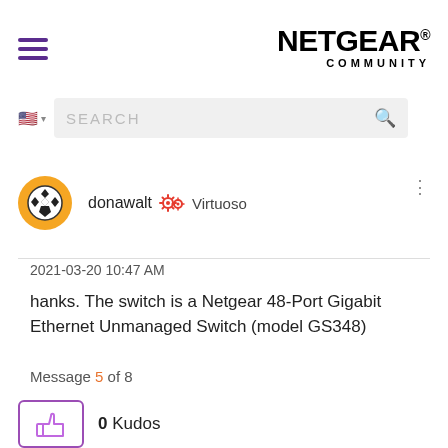[Figure (logo): NETGEAR Community logo with hamburger menu icon]
[Figure (screenshot): Search bar with US flag language selector]
donawalt  Virtuoso
2021-03-20 10:47 AM
hanks. The switch is a Netgear 48-Port Gigabit Ethernet Unmanaged Switch (model GS348)
Message 5 of 8
0 Kudos